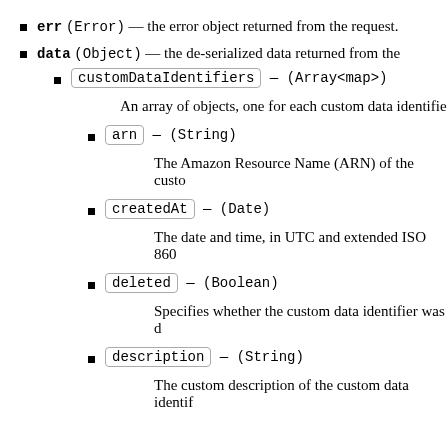err (Error) — the error object returned from the request.
data (Object) — the de-serialized data returned from the
customDataIdentifiers — (Array<map>)
An array of objects, one for each custom data identifie
arn — (String)
The Amazon Resource Name (ARN) of the custo
createdAt — (Date)
The date and time, in UTC and extended ISO 860
deleted — (Boolean)
Specifies whether the custom data identifier was d
description — (String)
The custom description of the custom data identif